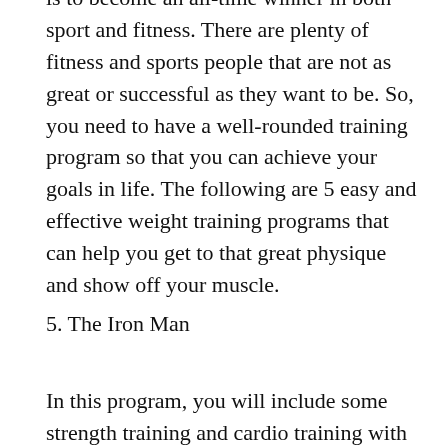is to become an all-time winner in both sport and fitness. There are plenty of fitness and sports people that are not as great or successful as they want to be. So, you need to have a well-rounded training program so that you can achieve your goals in life. The following are 5 easy and effective weight training programs that can help you get to that great physique and show off your muscle.
5. The Iron Man
In this program, you will include some strength training and cardio training with cardio training. So, in fact, it could be considered an Iron Man program. In the beginning of the program, you will have 6 weeks of strength training followed by 6 weeks of cardio training. This could be an ideal starting point to add more cardio on the